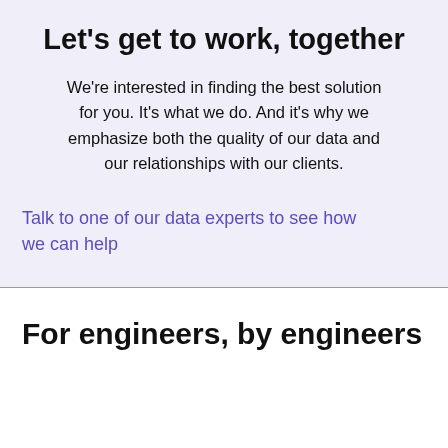Let's get to work, together
We're interested in finding the best solution for you. It's what we do. And it's why we emphasize both the quality of our data and our relationships with our clients.
Talk to one of our data experts to see how we can help
For engineers, by engineers